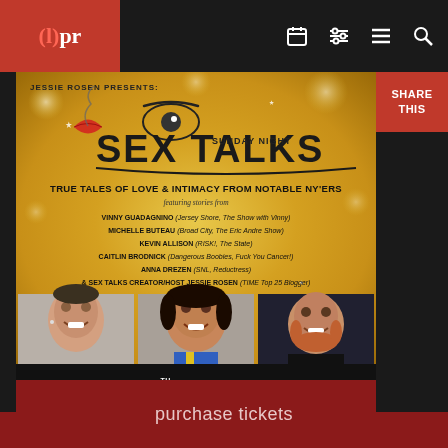(l)pr — navigation bar with logo and icons
[Figure (illustration): Event promotional poster for Sunday Night Sex Talks presented by Jessie Rosen, featuring gold sparkle background, stylized logo with lip/eye graphic, performer headshots grid, and event details]
JESSIE ROSEN PRESENTS: TRUE TALES OF LOVE & INTIMACY FROM NOTABLE NY'ERS featuring stories from VINNY GUADAGNINO (Jersey Shore, The Show with Vinny) MICHELLE BUTEAU (Broad City, The Eric Andre Show) KEVIN ALLISON (RISK!, The State) CAITLIN BRODNICK (Dangerous Boobies, Fuck You Cancer!) ANNA DREZEN (SNL, Reductress) & SEX TALKS CREATOR/HOST JESSIE ROSEN (TIME Top 25 Blogger)
SUNDAY, MARCH 5th – Doors 6:00pm Show 7:00pm LE POISSON ROUGE – 158 BLEECKER STREET $15 ONLINE VIA SUNDAYNIGHTSEXTALKS.COM
purchase tickets